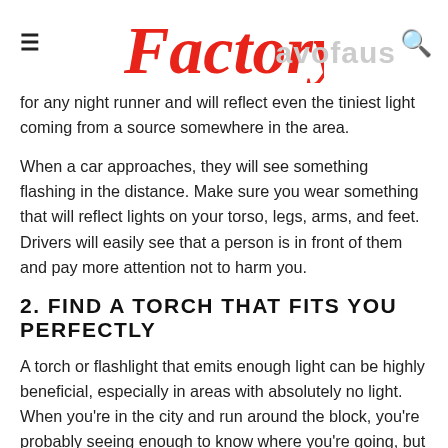Factory [logo] | [hamburger menu] | [search icon]
for any night runner and will reflect even the tiniest light coming from a source somewhere in the area.
When a car approaches, they will see something flashing in the distance. Make sure you wear something that will reflect lights on your torso, legs, arms, and feet. Drivers will easily see that a person is in front of them and pay more attention not to harm you.
2. FIND A TORCH THAT FITS YOU PERFECTLY
A torch or flashlight that emits enough light can be highly beneficial, especially in areas with absolutely no light. When you're in the city and run around the block, you're probably seeing enough to know where you're going, but it is entirely dark